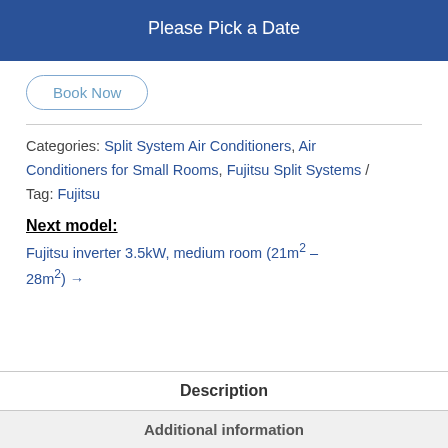Please Pick a Date
Book Now
Categories: Split System Air Conditioners, Air Conditioners for Small Rooms, Fujitsu Split Systems / Tag: Fujitsu
Next model:
Fujitsu inverter 3.5kW, medium room (21m² – 28m²) →
Description
Additional information